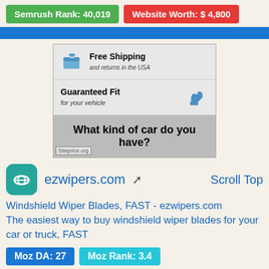Semrush Rank: 40,019   Website Worth: $ 4,800
[Figure (screenshot): Screenshot of ezwipers.com showing Free Shipping and returns in the USA, Guaranteed Fit for your vehicle, What kind of car do you have?]
ezwipers.com   Scroll Top
Windshield Wiper Blades, FAST - ezwipers.com
The easiest way to buy windshield wiper blades for your car or truck, FAST
Moz DA: 27   Moz Rank: 3.4
Semrush Rank: 68,561   Website Worth: $ 4,700